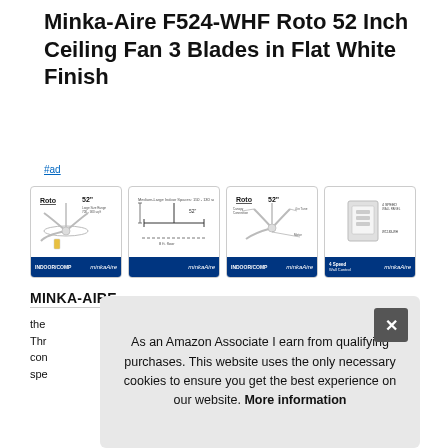Minka-Aire F524-WHF Roto 52 Inch Ceiling Fan 3 Blades in Flat White Finish
#ad
[Figure (photo): Four product diagram thumbnails for the Minka-Aire Roto 52 inch ceiling fan showing fan profile view with 52 inch label, side elevation/dimension diagram, feature callout diagram, and 4-speed wall control image. Each thumbnail has a dark blue footer bar with minkaAire logo.]
MINKA-AIRE
the
Thr
con
spe
As an Amazon Associate I earn from qualifying purchases. This website uses the only necessary cookies to ensure you get the best experience on our website. More information